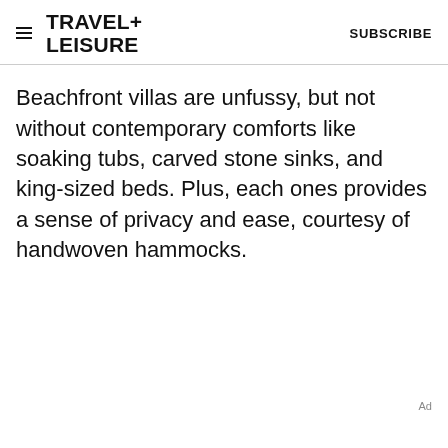TRAVEL+ LEISURE   SUBSCRIBE
Beachfront villas are unfussy, but not without contemporary comforts like soaking tubs, carved stone sinks, and king-sized beds. Plus, each ones provides a sense of privacy and ease, courtesy of handwoven hammocks.
Ad